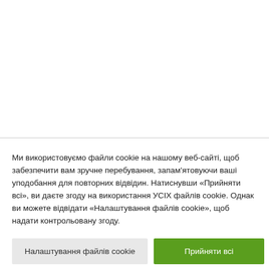[Figure (screenshot): White empty area representing a webpage content area above the cookie consent banner]
Ми використовуємо файли cookie на нашому веб-сайті, щоб забезпечити вам зручне перебування, запам'ятовуючи ваші уподобання для повторних відвідин. Натиснувши «Прийняти всі», ви даєте згоду на використання УСІХ файлів cookie. Однак ви можете відвідати «Налаштування файлів cookie», щоб надати контрольовану згоду.
Налаштування файлів cookie
Прийняти всі